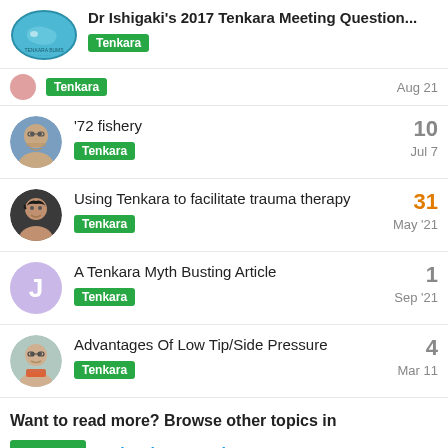Dr Ishigaki's 2017 Tenkara Meeting Question...
'72 fishery | Tenkara | 10 | Jul 7
Using Tenkara to facilitate trauma therapy | Tenkara | 31 | May '21
A Tenkara Myth Busting Article | Tenkara | 1 | Sep '21
Advantages Of Low Tip/Side Pressure | Tenkara | 4 | Mar 11
Want to read more? Browse other topics in Tenkara or view latest topics.